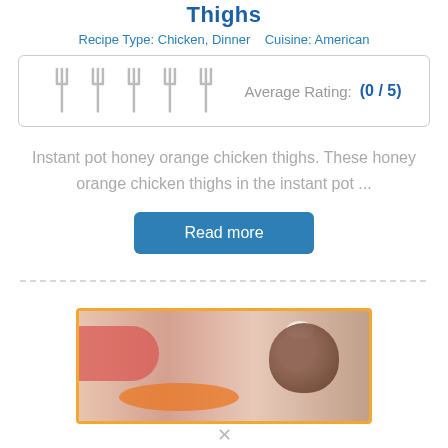Thighs
Recipe Type: Chicken, Dinner    Cuisine: American
[Figure (other): Five fork icons used as a rating graphic, showing 0 out of 5 rating with label 'Average Rating: (0 / 5)']
Instant pot honey orange chicken thighs. These honey orange chicken thighs in the instant pot ...
Read more
[Figure (photo): Photo of honey orange chicken thighs on a plate with orange slices and garnish, inside an orange-bordered card]
x